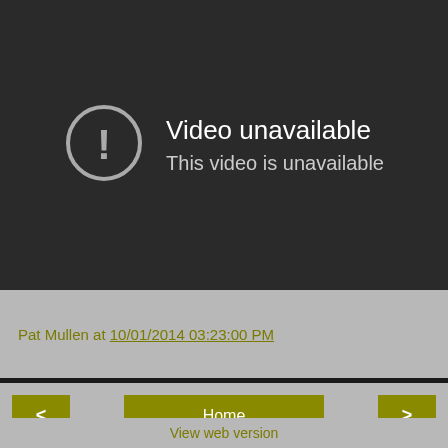[Figure (screenshot): Dark video player showing a 'Video unavailable' error screen with a circle-exclamation icon and the message 'Video unavailable / This video is unavailable' in white text on a dark background.]
Pat Mullen at 10/01/2014 03:23:00 PM
Home
View web version